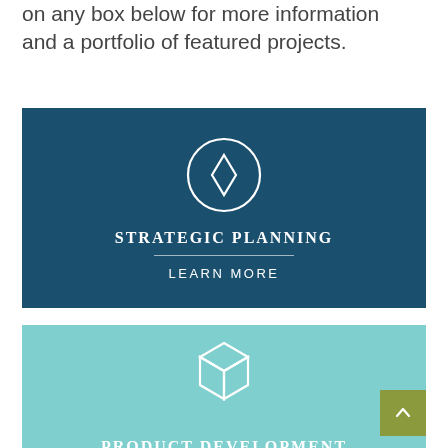on any box below for more information and a portfolio of featured projects.
[Figure (infographic): Dark teal card with compass icon, text STRATEGIC PLANNING, divider line, and LEARN MORE button]
[Figure (infographic): Light teal card with 3D cube icon and partially visible text PRODUCT DEVELOPMENT]